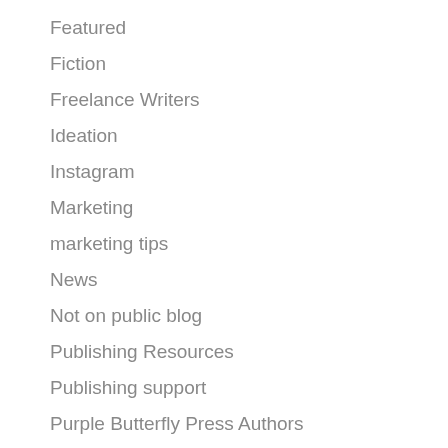Facebook Ads for Authors
Featured
Fiction
Freelance Writers
Ideation
Instagram
Marketing
marketing tips
News
Not on public blog
Publishing Resources
Publishing support
Purple Butterfly Press Authors